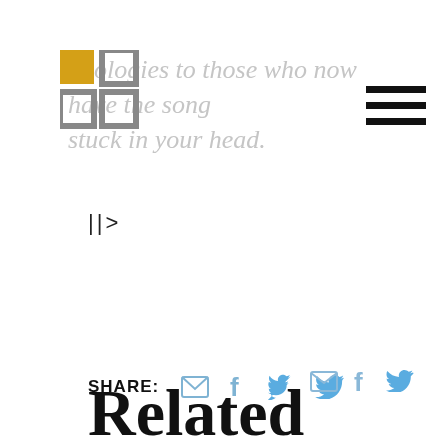[Figure (logo): Faith and Public Life logo - top left, partially behind faded text]
[Figure (illustration): Hamburger menu icon - three horizontal black lines, top right]
apologies to those who now have the song stuck in your head.
||>
SHARE:
[Figure (illustration): Share icons: email envelope, Facebook f, Twitter bird - in light blue/grey]
[Figure (logo): Faith and Public Life logo - author section]
Faith and Public Life
This post was published by the website administrator.
Related